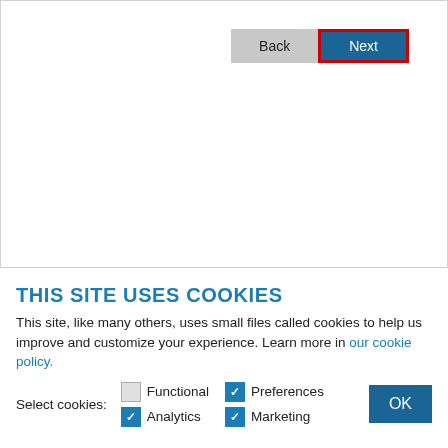[Figure (screenshot): Browser UI panel with Back and Next buttons. The Next button has a red border highlight.]
THIS SITE USES COOKIES
This site, like many others, uses small files called cookies to help us improve and customize your experience. Learn more in our cookie policy.
Select cookies: Functional (unchecked), Preferences (checked), Analytics (checked), Marketing (checked)